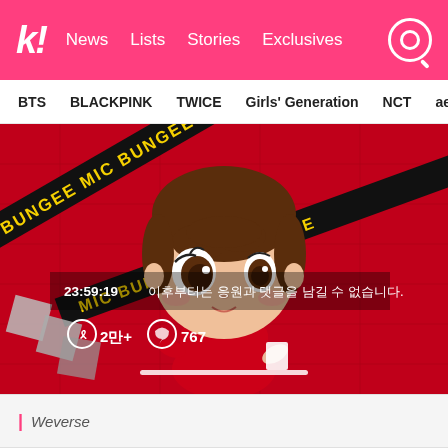k! News Lists Stories Exclusives
BTS BLACKPINK TWICE Girls' Generation NCT aespa
[Figure (screenshot): Weverse app screenshot showing a chibi-style 3D animated character (small figure with large brown eyes and brown hair) on a red background with diagonal black and yellow 'MIC BUNGEE' text banners. Overlay text reads '23:59:19 이후부터는 응원과 댓글을 남길 수 없습니다.' with icons showing '2만+' and '767'. A progress/scrubber bar is visible at the bottom.]
| Weverse